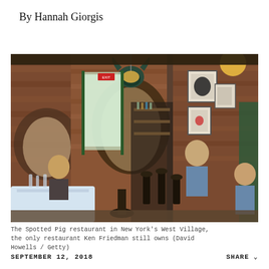By Hannah Giorgis
[Figure (photo): Interior of The Spotted Pig restaurant in New York's West Village, showing exposed brick walls, framed artwork, bar stools, dining tables with white tablecloths, patrons, and a mounted bull head on the wall.]
The Spotted Pig restaurant in New York's West Village, the only restaurant Ken Friedman still owns (David Howells / Getty)
SEPTEMBER 12, 2018    SHARE ⌄